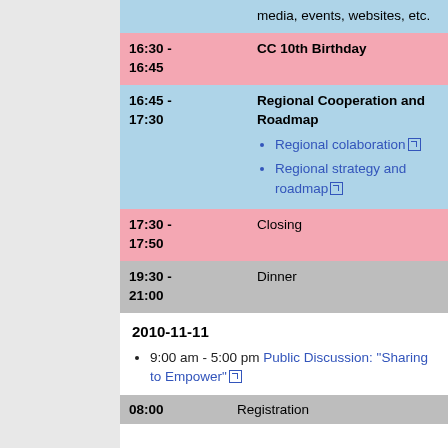| Time | Event |
| --- | --- |
|  | media, events, websites, etc. |
| 16:30 - 16:45 | CC 10th Birthday |
| 16:45 - 17:30 | Regional Cooperation and Roadmap
• Regional colaboration
• Regional strategy and roadmap |
| 17:30 - 17:50 | Closing |
| 19:30 - 21:00 | Dinner |
2010-11-11
9:00 am - 5:00 pm Public Discussion: "Sharing to Empower"
| Time | Event |
| --- | --- |
| 08:00 | Registration |